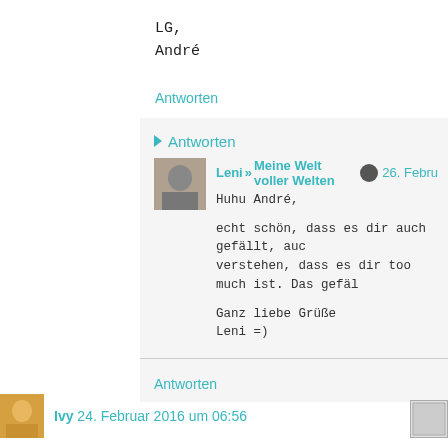LG,
André
Antworten
▸ Antworten
Leni » Meine Welt voller Welten  26. Febru
Huhu André,

echt schön, dass es dir auch gefällt, auc
verstehen, dass es dir too much ist. Das gefäl

Ganz liebe Grüße
Leni =)
Antworten
Ivy 24. Februar 2016 um 06:56